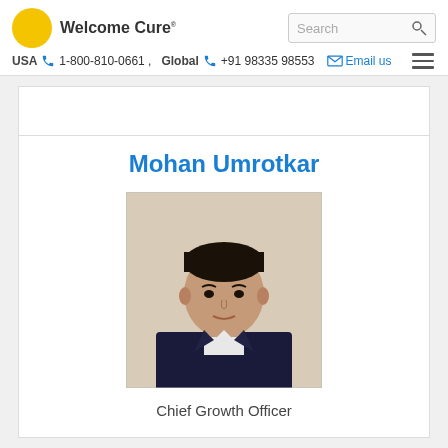Welcome Cure | USA 1-800-810-0661 | Global +91 98335 98553 | Email us
Mohan Umrotkar
[Figure (photo): Headshot photo of Mohan Umrotkar, a man in a dark suit jacket, against a light background.]
Chief Growth Officer